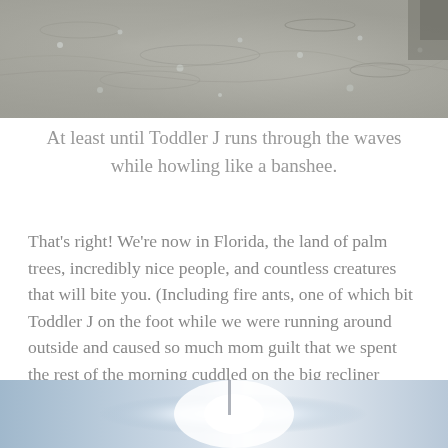[Figure (photo): Close-up photo of wet sand with water droplets and wave patterns, partially visible person in top right corner]
At least until Toddler J runs through the waves while howling like a banshee.
That's right! We're now in Florida, the land of palm trees, incredibly nice people, and countless creatures that will bite you. (Including fire ants, one of which bit Toddler J on the foot while we were running around outside and caused so much mom guilt that we spent the rest of the morning cuddled on the big recliner singing songs.)
[Figure (photo): Partial bottom photo showing a bright light or sun flare against a blue sky background]